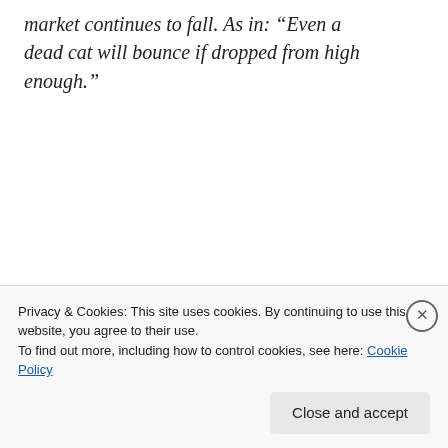market continues to fall. As in: “Even a dead cat will bounce if dropped from high enough.”
Share this:
Reddit  Facebook  Twitter  LinkedIn
Email  Tumblr  Pinterest
Privacy & Cookies: This site uses cookies. By continuing to use this website, you agree to their use.
To find out more, including how to control cookies, see here: Cookie Policy
Close and accept